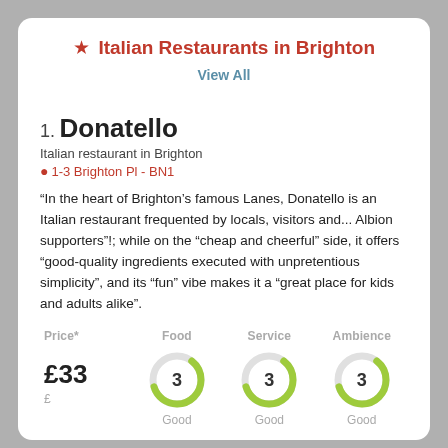Italian Restaurants in Brighton
View All
1. Donatello
Italian restaurant in Brighton
1-3 Brighton Pl - BN1
“In the heart of Brighton’s famous Lanes, Donatello is an Italian restaurant frequented by locals, visitors and... Albion supporters”!; while on the “cheap and cheerful” side, it offers “good-quality ingredients executed with unpretentious simplicity”, and its “fun” vibe makes it a “great place for kids and adults alike”.
[Figure (donut-chart): Food]
[Figure (donut-chart): Service]
[Figure (donut-chart): Ambience]